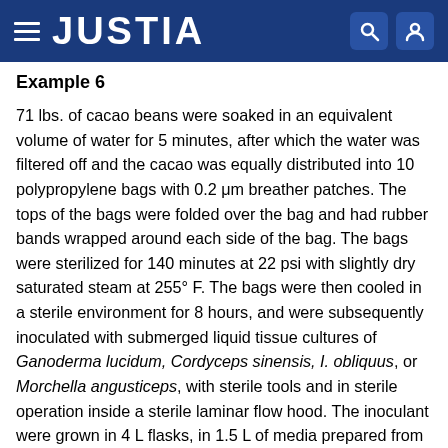JUSTIA
Example 6
71 lbs. of cacao beans were soaked in an equivalent volume of water for 5 minutes, after which the water was filtered off and the cacao was equally distributed into 10 polypropylene bags with 0.2 μm breather patches. The tops of the bags were folded over the bag and had rubber bands wrapped around each side of the bag. The bags were sterilized for 140 minutes at 22 psi with slightly dry saturated steam at 255° F. The bags were then cooled in a sterile environment for 8 hours, and were subsequently inoculated with submerged liquid tissue cultures of Ganoderma lucidum, Cordyceps sinensis, I. obliquus, or Morchella angusticeps, with sterile tools and in sterile operation inside a sterile laminar flow hood. The inoculant were grown in 4 L flasks, in 1.5 L of media prepared from the mixture with 10 L of organic potato